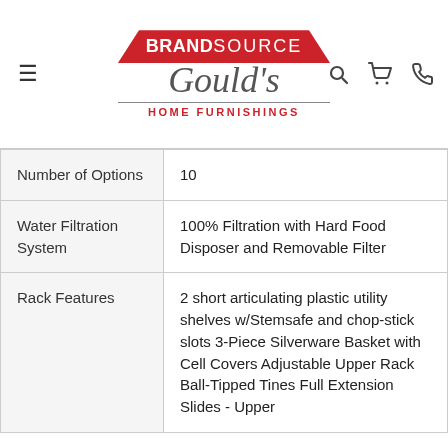[Figure (logo): BrandSource Gould's Home Furnishings logo with red trapezoid header and cursive Gould's script]
| Number of Options | 10 |
| Water Filtration System | 100% Filtration with Hard Food Disposer and Removable Filter |
| Rack Features | 2 short articulating plastic utility shelves w/Stemsafe and chop-stick slots 3-Piece Silverware Basket with Cell Covers Adjustable Upper Rack Ball-Tipped Tines Full Extension Slides - Upper |